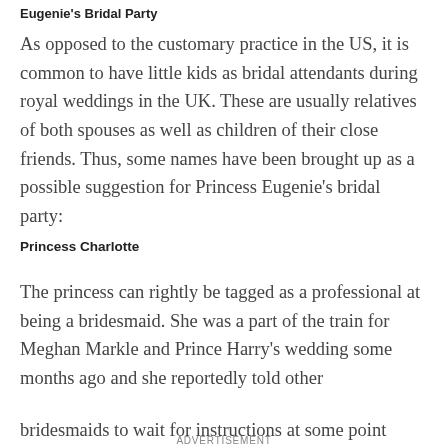Eugenie's Bridal Party
As opposed to the customary practice in the US, it is common to have little kids as bridal attendants during royal weddings in the UK. These are usually relatives of both spouses as well as children of their close friends. Thus, some names have been brought up as a possible suggestion for Princess Eugenie's bridal party:
Princess Charlotte
The princess can rightly be tagged as a professional at being a bridesmaid. She was a part of the train for Meghan Markle and Prince Harry's wedding some months ago and she reportedly told other bridesmaids to wait for instructions at some point
ADVERTISEMENT